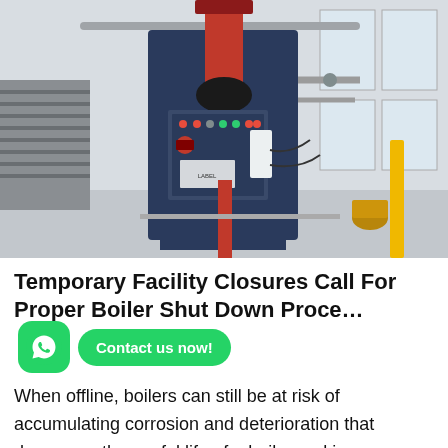[Figure (photo): Industrial boiler equipment in a factory/facility setting. A vertical boiler unit with a red cylindrical chimney/stack, dark blue frame, and a control panel with indicator lights and switches. The background shows a large industrial space with pipes, metal racks, and windows.]
Temporary Facility Closures Call For Proper Boiler Shut Down Proce… - Contact us now!
When offline, boilers can still be at risk of accumulating corrosion and deterioration that decreases the useful life of a boiler and increases maintenance and repair costs. With proper planning and preparation, a boiler can be taken…